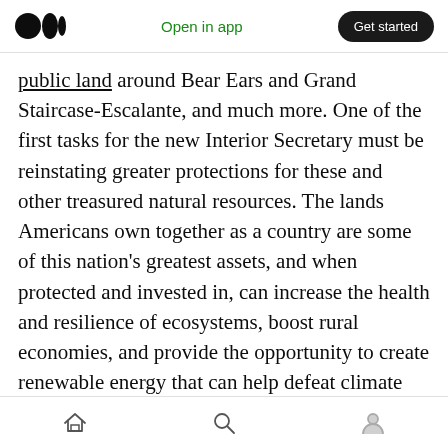Open in app | Get started
public land around Bear Ears and Grand Staircase-Escalante, and much more. One of the first tasks for the new Interior Secretary must be reinstating greater protections for these and other treasured natural resources. The lands Americans own together as a country are some of this nation's greatest assets, and when protected and invested in, can increase the health and resilience of ecosystems, boost rural economies, and provide the opportunity to create renewable energy that can help defeat climate change. This agenda must also include placing a
Home | Search | Profile